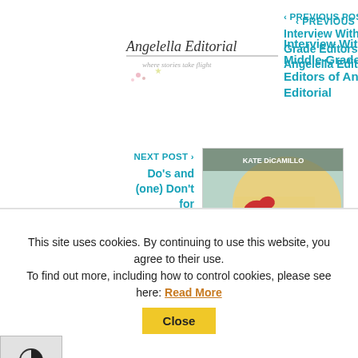[Figure (logo): Angelella Editorial logo with decorative script text and small floral/star design]
< PREVIOUS POST
Interview With Middle-Grade Editors of Angelella Editorial
NEXT POST >
Do's and (one) Don't for Emotionally Deeper MG Writing
[Figure (photo): Book cover: Louisiana's Way Home by Kate DiCamillo, showing a girl's profile with blonde hair and a red bow]
This site uses cookies. By continuing to use this website, you agree to their use. To find out more, including how to control cookies, please see here: Read More Close